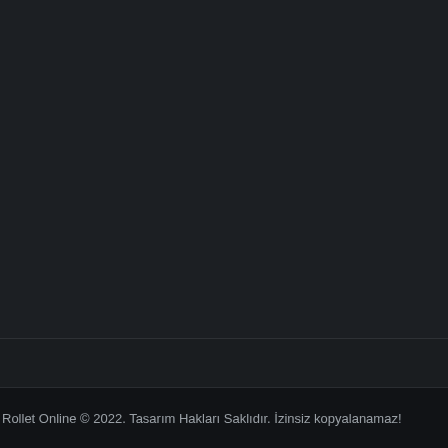[Figure (other): Dark background main content area, mostly black/dark gray]
Rollet Online © 2022. Tasarım Hakları Saklıdır. İzinsiz kopyalanamaz!